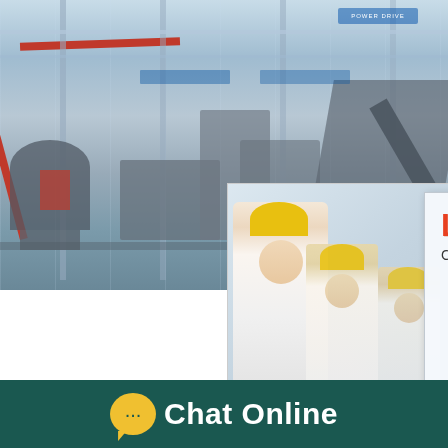[Figure (photo): Industrial factory floor with large machinery, cranes, and processing equipment. Workers in yellow hard hats visible in an overlay popup showing a live chat consultation interface.]
LIVE CHAT
Click for a Free Consultation
Chat now
Chat later
est state for you!
Click me to chat >>
Enquiry
US9333507D2 – Automatic charging system for a
The present invention is directed toward a material processing and milling facility which utilizes ba
Chat Online